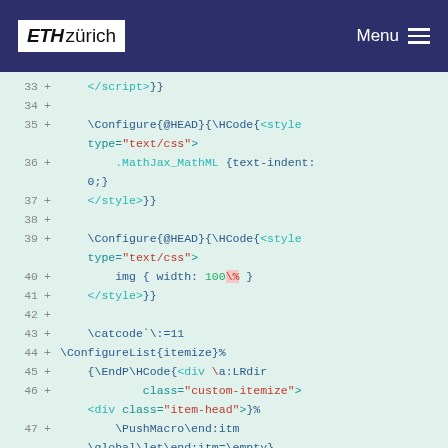ETH zürich | Menu
[Figure (screenshot): Code diff viewer showing lines 33-47 of a LaTeX/TeX configuration file with green background, line numbers in gray, plus signs for additions, and syntax-highlighted code including \Configure{@HEAD}{\HCode{<style type="text/css">}, .MathJax_MathML {text-indent: 0;}, </style>}}, \catcode`\:=11, \ConfigureList{itemize}%, {\EndP\HCode{<div \a:LRdir, class="custom-itemize"> <div class="item-head">}%, \PushMacro\end:itm \global\let\end:itm=\empty}]